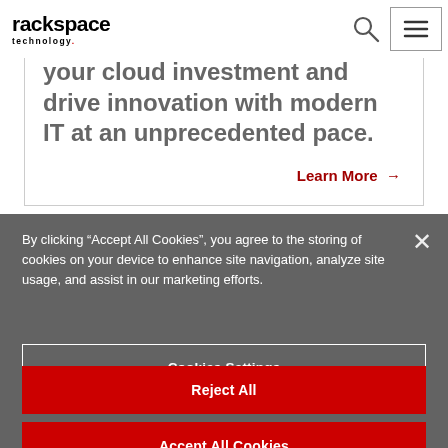[Figure (logo): Rackspace Technology logo — bold black text with 'rackspace' and 'technology.' beneath]
your cloud investment and drive innovation with modern IT at an unprecedented pace.
Learn More →
By clicking "Accept All Cookies", you agree to the storing of cookies on your device to enhance site navigation, analyze site usage, and assist in our marketing efforts.
Cookies Settings
Reject All
Accept All Cookies